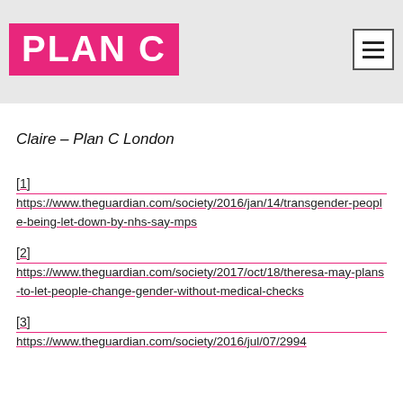PLAN C
Claire – Plan C London
[1] https://www.theguardian.com/society/2016/jan/14/transgender-people-being-let-down-by-nhs-say-mps
[2] https://www.theguardian.com/society/2017/oct/18/theresa-may-plans-to-let-people-change-gender-without-medical-checks
[3] https://www.theguardian.com/society/2016/jul/07/2994...